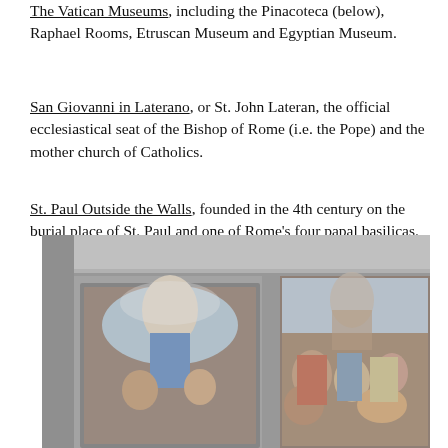The Vatican Museums, including the Pinacoteca (below), Raphael Rooms, Etruscan Museum and Egyptian Museum.
San Giovanni in Laterano, or St. John Lateran, the official ecclesiastical seat of the Bishop of Rome (i.e. the Pope) and the mother church of Catholics.
St. Paul Outside the Walls, founded in the 4th century on the burial place of St. Paul and one of Rome's four papal basilicas.
[Figure (photo): Interior of the Vatican Pinacoteca showing two large religious paintings on the gallery walls. Left painting depicts the Madonna and Child with saints in an arched frame. Right painting shows a crowded religious scene with figures in dramatic poses. The gallery has ornate ceiling molding and grey walls.]